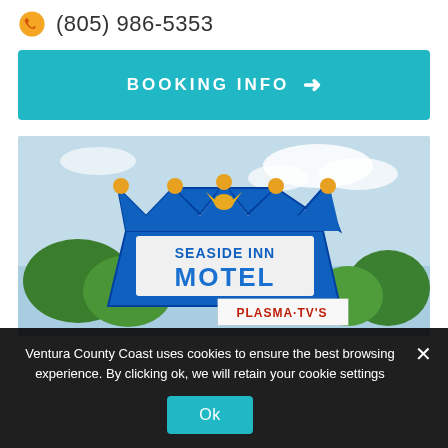(805) 986-5353
BOOKING INFO >
[Figure (photo): Photo of the Seaside Inn Motel sign — a blue crown-shaped sign with gold orbs on the points. The sign reads 'SEASIDE INN' in dark blue text and 'MOTEL' in large blue letters. Below is a red and white 'PLASMA TVs' panel. Background shows green trees and a partly cloudy blue sky.]
Ventura County Coast uses cookies to ensure the best browsing experience. By clicking ok, we will retain your cookie settings
Ok